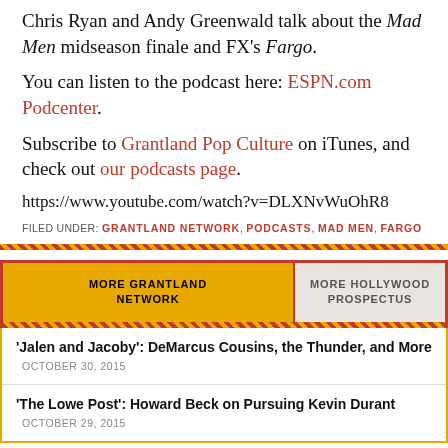Chris Ryan and Andy Greenwald talk about the Mad Men midseason finale and FX's Fargo.
You can listen to the podcast here: ESPN.com Podcenter.
Subscribe to Grantland Pop Culture on iTunes, and check out our podcasts page.
https://www.youtube.com/watch?v=DLXNvWuOhR8
FILED UNDER: GRANTLAND NETWORK, PODCASTS, MAD MEN, FARGO
MORE GRANTLAND NETWORK | MORE HOLLYWOOD PROSPECTUS
'Jalen and Jacoby': DeMarcus Cousins, the Thunder, and More OCTOBER 30, 2015
'The Lowe Post': Howard Beck on Pursuing Kevin Durant OCTOBER 29, 2015